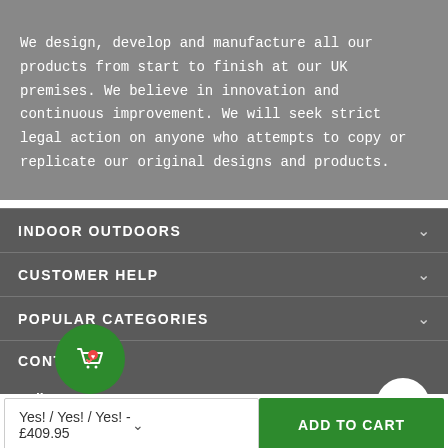We design, develop and manufacture all our products from start to finish at our UK premises. We believe in innovation and continuous improvement. We will seek strict legal action on anyone who attempts to copy or replicate our original designs and products.
INDOOR OUTDOORS
CUSTOMER HELP
POPULAR CATEGORIES
CONTACT
Call us:
018...4
Yes! / Yes! / Yes! - £409.95
ADD TO CART